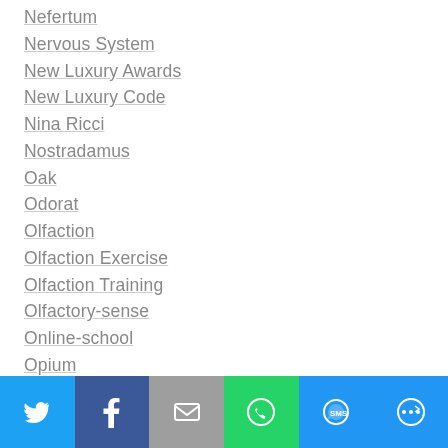Nefertum
Nervous System
New Luxury Awards
New Luxury Code
Nina Ricci
Nostradamus
Oak
Odorat
Olfaction
Olfaction Exercise
Olfaction Training
Olfactory-sense
Online-school
Opium
Parasympathetic
Perfume
Perfume Bottle Designer
[Figure (infographic): Social sharing bar with Twitter, Facebook, Email, WhatsApp, SMS, and More buttons]